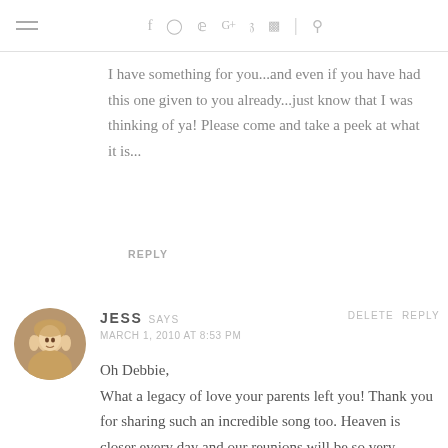Navigation bar with hamburger menu and social icons: f, Instagram, Twitter, G+, Pinterest, RSS, search
I have something for you...and even if you have had this one given to you already...just know that I was thinking of ya! Please come and take a peek at what it is...
REPLY
[Figure (photo): Round avatar photo of a smiling woman with blonde hair]
JESS SAYS
MARCH 1, 2010 AT 8:53 PM
Oh Debbie,
What a legacy of love your parents left you! Thank you for sharing such an incredible song too. Heaven is closer every day and our reunions will be so very sweet!